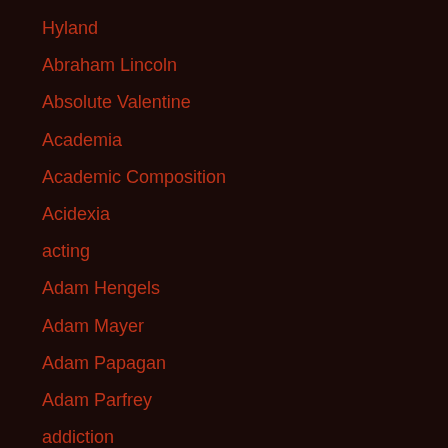Hyland
Abraham Lincoln
Absolute Valentine
Academia
Academic Composition
Acidexia
acting
Adam Hengels
Adam Mayer
Adam Papagan
Adam Parfrey
addiction
Aesthetic Socialism
aesthetics
Afs...